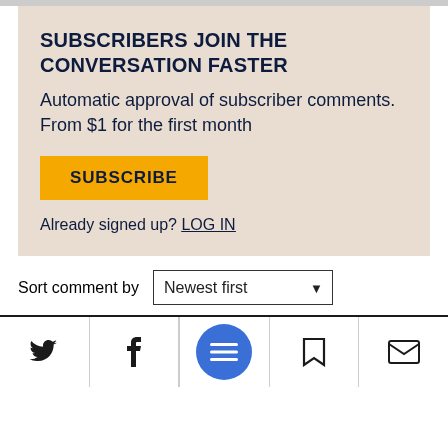SUBSCRIBERS JOIN THE CONVERSATION FASTER
Automatic approval of subscriber comments.
From $1 for the first month
SUBSCRIBE
Already signed up? LOG IN
Sort comment by   Newest first